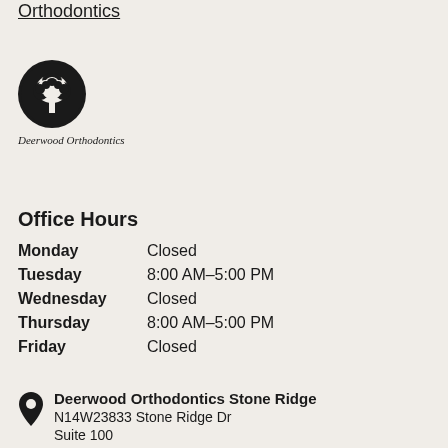Orthodontics
[Figure (logo): Deerwood Orthodontics circular logo with tree illustration in black and white]
Deerwood Orthodontics
Office Hours
| Day | Hours |
| --- | --- |
| Monday | Closed |
| Tuesday | 8:00 AM–5:00 PM |
| Wednesday | Closed |
| Thursday | 8:00 AM–5:00 PM |
| Friday | Closed |
Deerwood Orthodontics Stone Ridge
N14W23833 Stone Ridge Dr
Suite 100